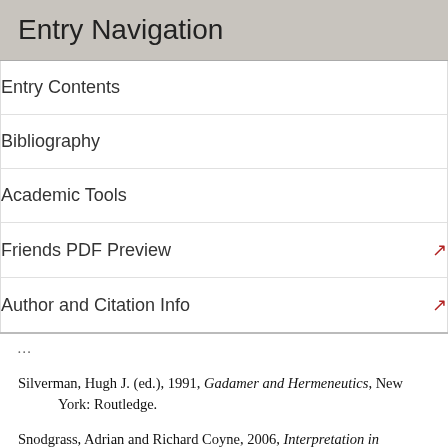Entry Navigation
Entry Contents
Bibliography
Academic Tools
Friends PDF Preview
Author and Citation Info
Silverman, Hugh J. (ed.), 1991, Gadamer and Hermeneutics, New York: Routledge.
Snodgrass, Adrian and Richard Coyne, 2006, Interpretation in Architecture: Design as Way of Thinking, London: Routledge.
Sullivan, Robert, 1990, Political Hermeneutics: The Early Thinking of Hans-Georg Gadamer, University Park, Pennsylvania: Pennsylvania State University Press.
Svenaueus, Fredrick, 2003, ‘Hermeneutics of Medicine in the wake of Gadamer: The Issue of Phronesis’